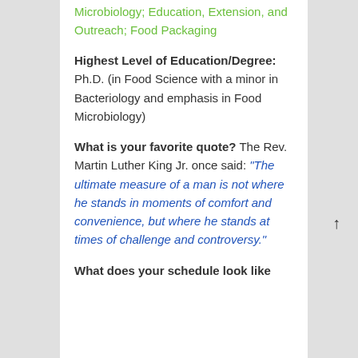Microbiology; Education, Extension, and Outreach; Food Packaging
Highest Level of Education/Degree: Ph.D. (in Food Science with a minor in Bacteriology and emphasis in Food Microbiology)
What is your favorite quote? The Rev. Martin Luther King Jr. once said: “The ultimate measure of a man is not where he stands in moments of comfort and convenience, but where he stands at times of challenge and controversy.”
What does your schedule look like